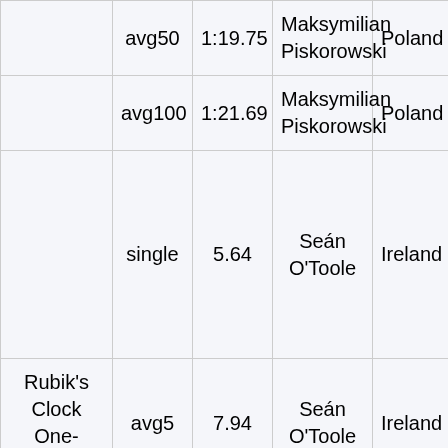| Event | Type | Result | Person | Country | Scramble |
| --- | --- | --- | --- | --- | --- |
|  | avg50 | 1:19.75 | Maksymilian Piskorowski | Poland | 1:2... |
|  | avg100 | 1:21.69 | Maksymilian Piskorowski | Poland |  |
|  | single | 5.64 | Seán O'Toole | Ireland | Scra UR5 DL0 U0+ L2+ U1- L0+ UR |
| Rubik's Clock One-handed | avg5 | 7.94 | Seán O'Toole | Ireland | 12.0 8.46 5.64 |
|  |  |  |  |  | 10.2 11.1 |